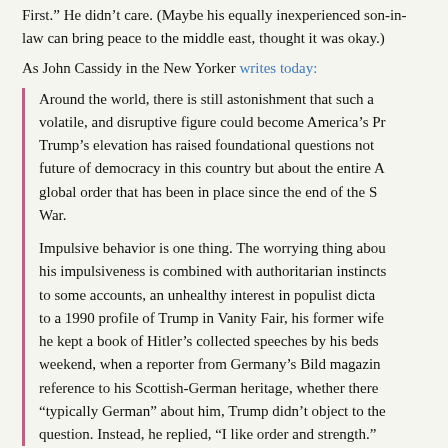First." He didn't care. (Maybe his equally inexperienced son-in-law can bring peace to the middle east, thought it was okay.)
As John Cassidy in the New Yorker writes today:
Around the world, there is still astonishment that such an volatile, and disruptive figure could become America's Pr Trump's elevation has raised foundational questions not future of democracy in this country but about the entire A global order that has been in place since the end of the S War.

Impulsive behavior is one thing. The worrying thing abou his impulsiveness is combined with authoritarian instincts to some accounts, an unhealthy interest in populist dicta to a 1990 profile of Trump in Vanity Fair, his former wife he kept a book of Hitler's collected speeches by his beds weekend, when a reporter from Germany's Bild magazin reference to his Scottish-German heritage, whether there “typically German” about him, Trump didn't object to the question. Instead, he replied, “I like order and strength.”
There were some funny (as in ridiculous) moments: GW Bush with his rain poncho. Kelly Ann Conway's hideous dress and ha look on Michelle Obama's face when Melania Trump handed h (funniest tweet about what it probably contained: a hand-scraw Take Me With You."